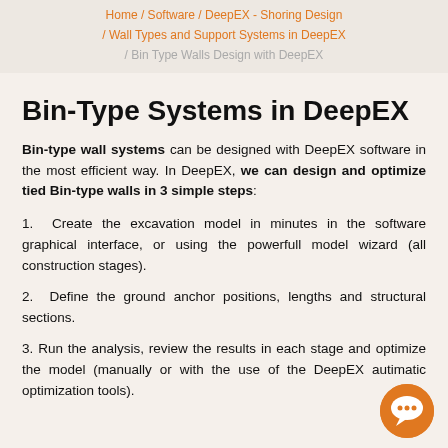Home / Software / DeepEX - Shoring Design / Wall Types and Support Systems in DeepEX / Bin Type Walls Design with DeepEX
Bin-Type Systems in DeepEX
Bin-type wall systems can be designed with DeepEX software in the most efficient way. In DeepEX, we can design and optimize tied Bin-type walls in 3 simple steps:
1. Create the excavation model in minutes in the software graphical interface, or using the powerfull model wizard (all construction stages).
2. Define the ground anchor positions, lengths and structural sections.
3. Run the analysis, review the results in each stage and optimize the model (manually or with the use of the DeepEX autimatic optimization tools).